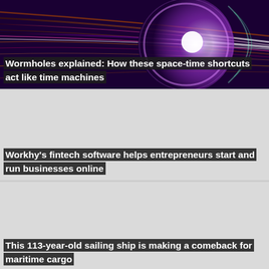[Figure (photo): Abstract wormhole or space-time tunnel image with purple and pink glowing light streaks and a circular portal shape against a dark background]
Wormholes explained: How these space-time shortcuts act like time machines
[Figure (photo): Light gray placeholder card background for fintech article]
Workhy's fintech software helps entrepreneurs start and run businesses online
[Figure (photo): Light gray placeholder card background for sailing ship article]
This 113-year-old sailing ship is making a comeback for maritime cargo